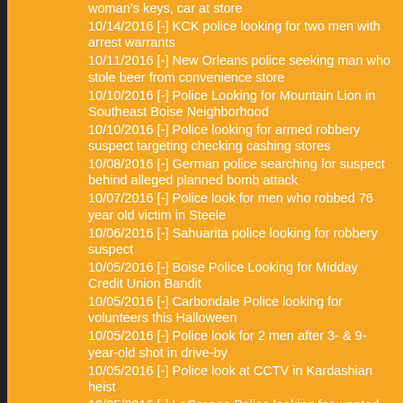woman's keys, car at store
10/14/2016 [-] KCK police looking for two men with arrest warrants
10/11/2016 [-] New Orleans police seeking man who stole beer from convenience store
10/10/2016 [-] Police Looking for Mountain Lion in Southeast Boise Neighborhood
10/10/2016 [-] Police looking for armed robbery suspect targeting checking cashing stores
10/08/2016 [-] German police searching for suspect behind alleged planned bomb attack
10/07/2016 [-] Police look for men who robbed 76 year old victim in Steele
10/06/2016 [-] Sahuarita police looking for robbery suspect
10/05/2016 [-] Boise Police Looking for Midday Credit Union Bandit
10/05/2016 [-] Carbondale Police looking for volunteers this Halloween
10/05/2016 [-] Police look for 2 men after 3- & 9-year-old shot in drive-by
10/05/2016 [-] Police look at CCTV in Kardashian heist
10/05/2016 [-] LaGrange Police looking for wanted person
10/04/2016 [-] Police looking for anyone pulled over by man impersonating police officer
10/04/2016 [-] Police look for car that could lead them to a killer
10/03/2016 [-] GR police looking for missing 13-year-old girl
10/02/2016 [-] Police looking for person of interest in connection with Saturday homicide
09/29/2016 [-] Overland Park police looking for man who flashed 4 women
09/27/2016 [-] WANTED Jeffersonville police looking for bank robber